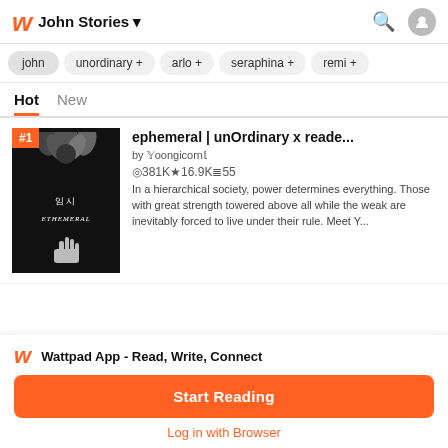John Stories
john
unordinary +
arlo +
seraphina +
remi +
Hot  New
#1  ephemeral | unOrdinary x reade...  by 𝕐oongicorn𝕝  ◎381K★16.9Ki≡55  In a hierarchical society, power determines everything. Those with great strength towered above all while the weak are inevitably forced to live under their rule. Meet Y...
Wattpad App - Read, Write, Connect
Start Reading
Log in with Browser